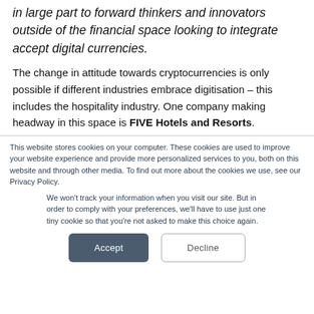in large part to forward thinkers and innovators outside of the financial space looking to integrate accept digital currencies.
The change in attitude towards cryptocurrencies is only possible if different industries embrace digitisation – this includes the hospitality industry. One company making headway in this space is FIVE Hotels and Resorts.
This website stores cookies on your computer. These cookies are used to improve your website experience and provide more personalized services to you, both on this website and through other media. To find out more about the cookies we use, see our Privacy Policy.
We won't track your information when you visit our site. But in order to comply with your preferences, we'll have to use just one tiny cookie so that you're not asked to make this choice again.